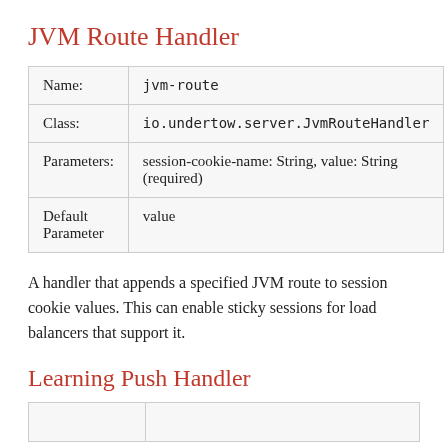JVM Route Handler
| Name: | jvm-route |
| Class: | io.undertow.server.JvmRouteHandler |
| Parameters: | session-cookie-name: String, value: String (required) |
| Default Parameter | value |
A handler that appends a specified JVM route to session cookie values. This can enable sticky sessions for load balancers that support it.
Learning Push Handler